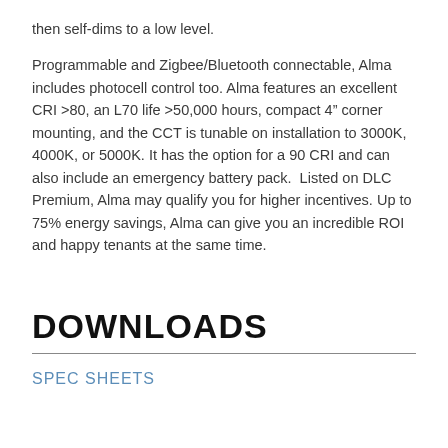then self-dims to a low level.
Programmable and Zigbee/Bluetooth connectable, Alma includes photocell control too. Alma features an excellent CRI >80, an L70 life >50,000 hours, compact 4" corner mounting, and the CCT is tunable on installation to 3000K, 4000K, or 5000K. It has the option for a 90 CRI and can also include an emergency battery pack.  Listed on DLC Premium, Alma may qualify you for higher incentives. Up to 75% energy savings, Alma can give you an incredible ROI and happy tenants at the same time.
DOWNLOADS
SPEC SHEETS